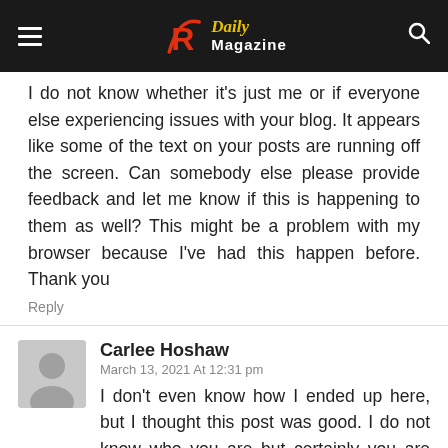R Daily Magazine
I do not know whether it's just me or if everyone else experiencing issues with your blog. It appears like some of the text on your posts are running off the screen. Can somebody else please provide feedback and let me know if this is happening to them as well? This might be a problem with my browser because I've had this happen before. Thank you
Reply
Carlee Hoshaw
March 13, 2021 At 12:31 pm
I don't even know how I ended up here, but I thought this post was good. I do not know who you are but certainly you are going to a famous blogger if you are not already 😉 Cheers!